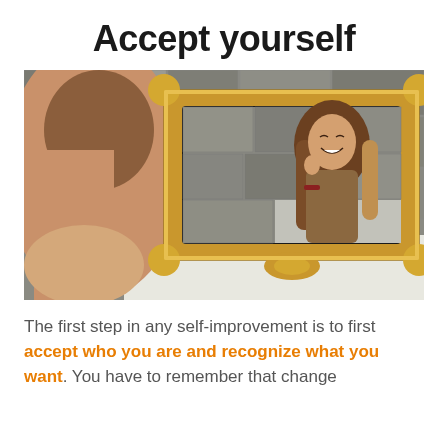Accept yourself
[Figure (photo): A woman with long brunette-to-blonde hair viewed from behind looks at her smiling reflection in an ornate gold-framed mirror. The background wall has a grey textured stone pattern.]
The first step in any self-improvement is to first accept who you are and recognize what you want. You have to remember that change